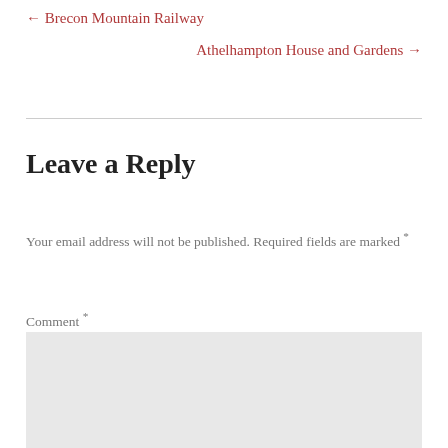← Brecon Mountain Railway
Athelhampton House and Gardens →
Leave a Reply
Your email address will not be published. Required fields are marked *
Comment *